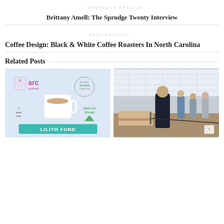← PREVIOUS ARTICLE
Brittany Amell: The Sprudge Twenty Interview
NEXT ARTICLE >
Coffee Design: Black & White Coffee Roasters In North Carolina
Related Posts
[Figure (photo): Promotional graphic with light blue background showing a white coffee mug surrounded by organization logos: arc southeast, Midwest Access Coalition, if/when/how, Here For Texans, and Lilith Fund]
[Figure (photo): Indoor coffee event photo showing people standing at tables in a large windowed venue, with a man in dark jacket prominent in foreground]